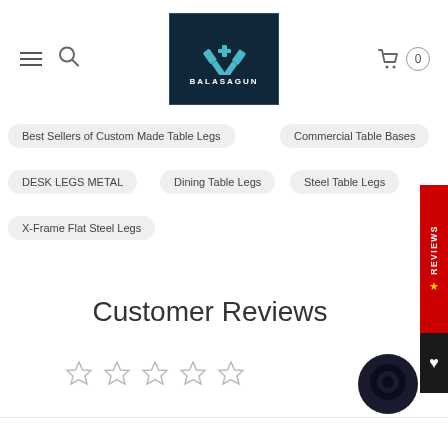[Figure (logo): Balasagun logo: dark navy background with crossed hammers icon in teal/blue, text BALASAGUN below in white letters]
Best Sellers of Custom Made Table Legs
Commercial Table Bases
DESK LEGS METAL
Dining Table Legs
Steel Table Legs
X-Frame Flat Steel Legs
Customer Reviews
[Figure (other): Five empty star rating icons (outline only, no fill)]
[Figure (other): Dark circular chat/support bubble icon in bottom right]